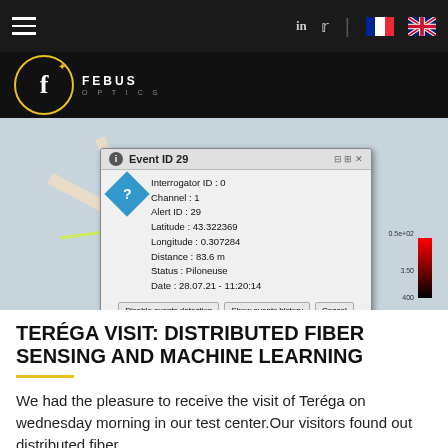Navigation bar with hamburger menu, LinkedIn, Twitter icons, French and UK flags
[Figure (logo): Febus Optics logo: circular gold border with letter f and FEBUS OPTICS text]
[Figure (screenshot): Screenshot of fiber sensing software showing a map with an event popup: Event ID 29, Interrogator ID: 0, Channel: 1, Alert ID: 29, Latitude: 43.322369, Longitude: 0.307284, Distance: 83.6 m, Status: Piloneuse, Date: 28.07.21 - 11:20:14. Buttons: Disable events detection, Show events history, Cancel.]
TERÉGA VISIT: DISTRIBUTED FIBER SENSING AND MACHINE LEARNING
We had the pleasure to receive the visit of Teréga on wednesday morning in our test center.Our visitors found out distributed fiber